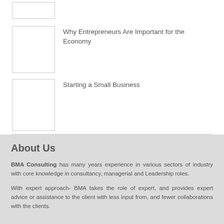[Figure (other): Small placeholder image thumbnail (top, partially visible)]
[Figure (other): Placeholder image thumbnail next to 'Why Entrepreneurs Are Important for the Economy']
Why Entrepreneurs Are Important for the Economy
[Figure (other): Placeholder image thumbnail next to 'Starting a Small Business']
Starting a Small Business
About Us
BMA Consulting has many years experience in various sectors of industry with core knowledge in consultancy, managerial and Leadership roles.
With expert approach- BMA takes the role of expert, and provides expert advice or assistance to the client with less input from, and fewer collaborations with the clients.